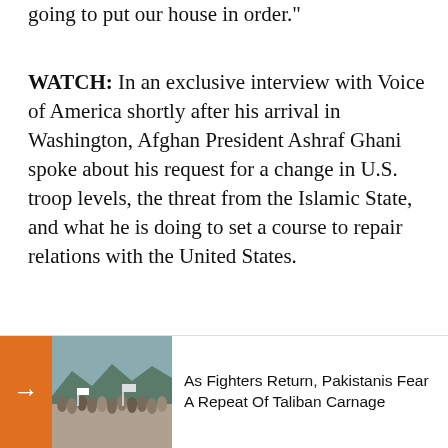going to put our house in order."
WATCH: In an exclusive interview with Voice of America shortly after his arrival in Washington, Afghan President Ashraf Ghani spoke about his request for a change in U.S. troop levels, the threat from the Islamic State, and what he is doing to set a course to repair relations with the United States.
[Figure (photo): Related article card with orange arrow box and crowd photo thumbnail]
As Fighters Return, Pakistanis Fear A Repeat Of Taliban Carnage